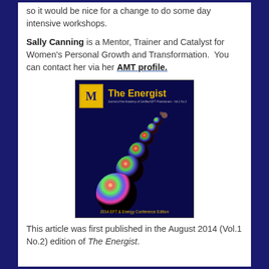so it would be nice for a change to do some day intensive workshops.
Sally Canning is a Mentor, Trainer and Catalyst for Women's Personal Growth and Transformation. You can contact her via her AMT profile.
[Figure (photo): Cover of The Energist magazine, 2014 EFT & Energy Conference Edition. Dark blue background with spherical bubble-like objects in a diagonal trail, featuring a yellow logo and title 'The Energist' at the top.]
This article was first published in the August 2014 (Vol.1 No.2) edition of The Energist.